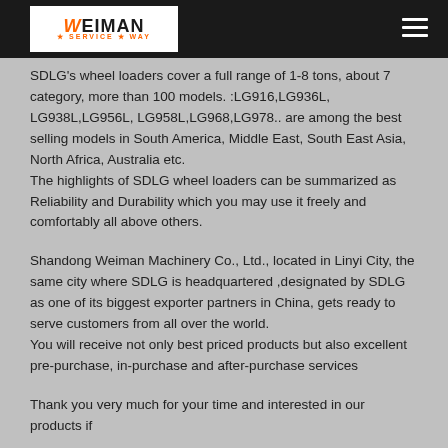WEIMAN SERVICE WAY
SDLG's wheel loaders cover a full range of 1-8 tons, about 7 category, more than 100 models. :LG916,LG936L, LG938L,LG956L, LG958L,LG968,LG978.. are among the best selling models in South America, Middle East, South East Asia, North Africa, Australia etc. The highlights of SDLG wheel loaders can be summarized as Reliability and Durability which you may use it freely and comfortably all above others.
Shandong Weiman Machinery Co., Ltd., located in Linyi City, the same city where SDLG is headquartered ,designated by SDLG as one of its biggest exporter partners in China, gets ready to serve customers from all over the world. You will receive not only best priced products but also excellent pre-purchase, in-purchase and after-purchase services
Thank you very much for your time and interested in our products if